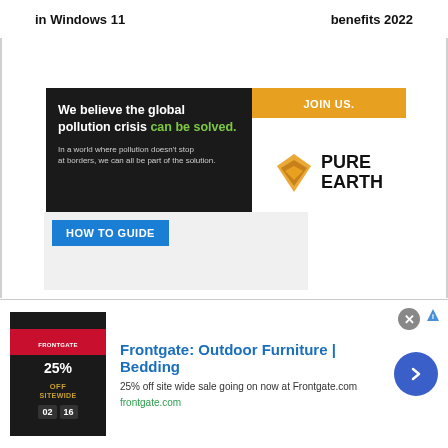in Windows 11
benefits 2022
[Figure (illustration): Pure Earth advertisement banner. Left side: black background with text 'We believe the global pollution crisis can be solved.' in white/green. Right side: orange JOIN US bar at top, Pure Earth diamond logo and name below.]
HOW TO GUIDE
[Figure (illustration): Frontgate advertisement banner at bottom. Shows Frontgate logo image on left with '25% OFF SITEWIDE' text on dark background. Right side shows 'Frontgate: Outdoor Furniture | Bedding', '25% off site wide sale going on now at Frontgate.com', 'frontgate.com'. Blue circular arrow button on right. Close (X) button top right.]